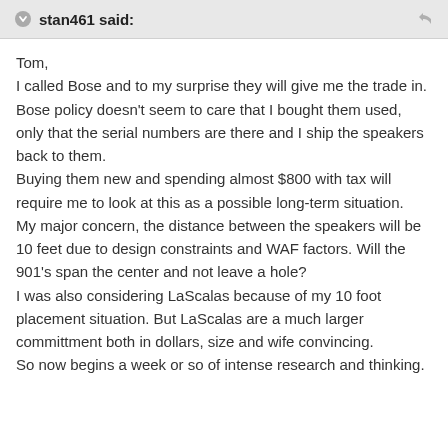stan461 said:
Tom,
I called Bose and to my surprise they will give me the trade in. Bose policy doesn't seem to care that I bought them used, only that the serial numbers are there and I ship the speakers back to them.
Buying them new and spending almost $800 with tax will require me to look at this as a possible long-term situation.
My major concern, the distance between the speakers will be 10 feet due to design constraints and WAF factors. Will the 901's span the center and not leave a hole?
I was also considering LaScalas because of my 10 foot placement situation. But LaScalas are a much larger committment both in dollars, size and wife convincing.
So now begins a week or so of intense research and thinking.